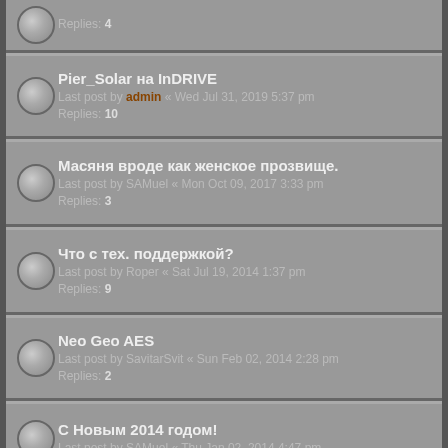Replies: 4
Pier_Solar на InDRIVE
Last post by admin « Wed Jul 31, 2019 5:37 pm
Replies: 10
Масяня вроде как женское прозвище.
Last post by SAMuel « Mon Oct 09, 2017 3:33 pm
Replies: 3
Что с тех. поддержкой?
Last post by Roper « Sat Jul 19, 2014 1:37 pm
Replies: 9
Neo Geo AES
Last post by SavitarSvit « Sun Feb 02, 2014 2:28 pm
Replies: 2
С Новым 2014 годом!
Last post by SAMuel « Thu Jan 02, 2014 4:47 pm
Sega Genesis 1 RGB
Last post by HardWareMan « Sat Oct 26, 2013 2:28 pm
Replies: 4